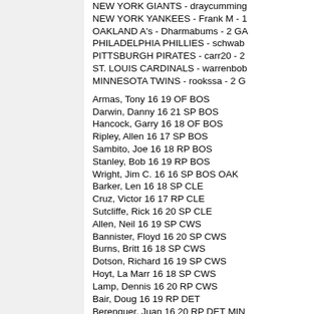NEW YORK GIANTS - draycumming
NEW YORK YANKEES - Frank M - 1
OAKLAND A's - Dharmabums - 2 GA
PHILADELPHIA PHILLIES - schwab
PITTSBURGH PIRATES - carr20 - 2
ST. LOUIS CARDINALS - warrenbob
MINNESOTA TWINS - rookssa - 2 G
Armas, Tony 16 19 OF BOS
Darwin, Danny 16 21 SP BOS
Hancock, Garry 16 18 OF BOS
Ripley, Allen 16 17 SP BOS
Sambito, Joe 16 18 RP BOS
Stanley, Bob 16 19 RP BOS
Wright, Jim C. 16 16 SP BOS OAK
Barker, Len 16 18 SP CLE
Cruz, Victor 16 17 RP CLE
Sutcliffe, Rick 16 20 SP CLE
Allen, Neil 16 19 SP CWS
Bannister, Floyd 16 20 SP CWS
Burns, Britt 16 18 SP CWS
Dotson, Richard 16 19 SP CWS
Hoyt, La Marr 16 18 SP CWS
Lamp, Dennis 16 20 RP CWS
Bair, Doug 16 19 RP DET
Berenguer, Juan 16 20 RP DET MIN